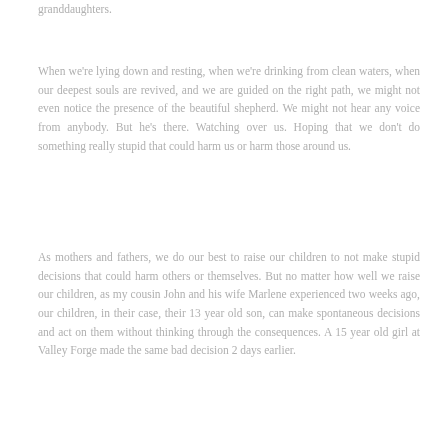granddaughters.
When we're lying down and resting, when we're drinking from clean waters, when our deepest souls are revived, and we are guided on the right path, we might not even notice the presence of the beautiful shepherd. We might not hear any voice from anybody. But he's there. Watching over us. Hoping that we don't do something really stupid that could harm us or harm those around us.
As mothers and fathers, we do our best to raise our children to not make stupid decisions that could harm others or themselves. But no matter how well we raise our children, as my cousin John and his wife Marlene experienced two weeks ago, our children, in their case, their 13 year old son, can make spontaneous decisions and act on them without thinking through the consequences. A 15 year old girl at Valley Forge made the same bad decision 2 days earlier.